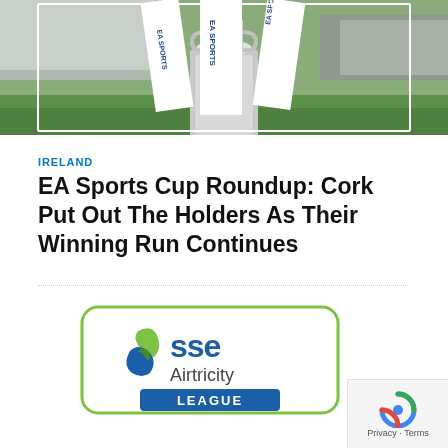[Figure (photo): EA Sports Cup trophy on a football pitch with EA Sports branded ribbons, stadium stands visible in background]
IRELAND
EA Sports Cup Roundup: Cork Put Out The Holders As Their Winning Run Continues
[Figure (logo): SSE Airtricity League logo - rounded rectangle with green flame/leaf icon, 'sse Airtricity' text and dark blue 'LEAGUE' banner at bottom]